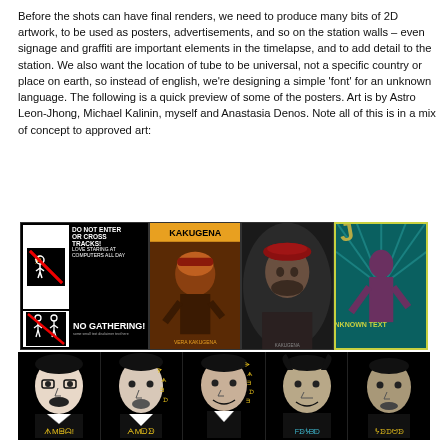Before the shots can have final renders, we need to produce many bits of 2D artwork, to be used as posters, advertisements, and so on the station walls – even signage and graffiti are important elements in the timelapse, and to add detail to the station. We also want the location of tube to be universal, not a specific country or place on earth, so instead of english, we're designing a simple 'font' for an unknown language. The following is a quick preview of some of the posters. Art is by Astro Leon-Jhong, Michael Kalinin, myself and Anastasia Denos. Note all of this is in a mix of concept to approved art:
[Figure (illustration): Four illustrated posters side by side: 1) Black and white safety sign style poster reading 'DO NOT ENTER OR CROSS TRACKS! LOVE STARING AT COMPUTERS ALL DAY' and 'NO GATHERING!' with prohibition figures. 2) Orange/brown illustrated poster reading 'KAKUGENA' with stylized portrait. 3) Dark portrait illustration of man with red beret. 4) Teal retro propaganda style poster with standing figure and stylized text.]
[Figure (illustration): Five black and white illustrated portrait faces of men with fictional alien/unknown language script annotations in yellow and blue text beneath each portrait on black background.]